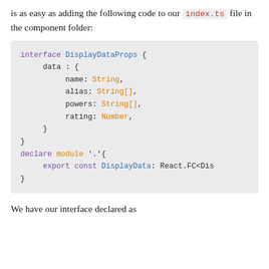is as easy as adding the following code to our index.ts file in the component folder:
interface DisplayDataProps {
    data : {
        name: String,
        alias: String[],
        powers: String[],
        rating: Number,
    }
}
declare module '.'{
    export const DisplayData: React.FC<Dis
}
We have our interface declared as